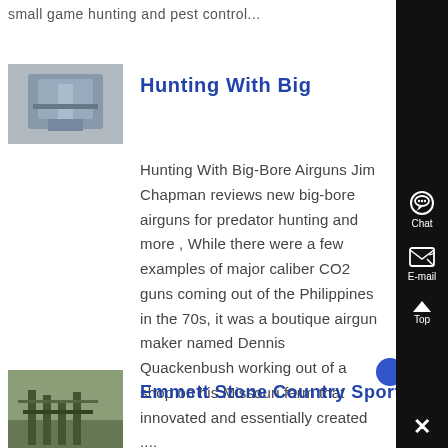small game hunting and pest control...
[Figure (photo): Thumbnail image of what appears to be industrial or farming equipment in a warehouse or shed]
Hunting With Big
Hunting With Big-Bore Airguns Jim Chapman reviews new big-bore airguns for predator hunting and more , While there were a few examples of major caliber CO2 guns coming out of the Philippines in the 70s, it was a boutique airgun maker named Dennis Quackenbush working out of a shop on his Missouri farm that innovated and essentially created ....
[Figure (photo): Thumbnail image of outdoor scene, appears to be a country sports location with equipment]
Emmett Stone Country Sport